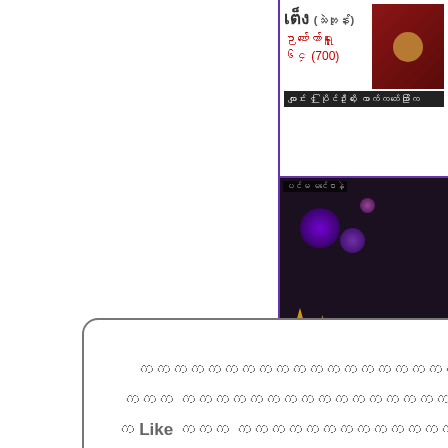[Figure (screenshot): Webpage screenshot showing a modal dialog box with Myanmar text about FB Like, overlaid on a page with right sidebar containing images of a monk, purple-themed video thumbnails, a mobile app screenshot, and a decorative image. Bottom area shows Like button text in Myanmar.]
Myanmar text: modal popup with FB Like instructions, with close (×) button
Like [Myanmar text] X[Myanmar text]
1 [Myanmar text]
[Myanmar text]